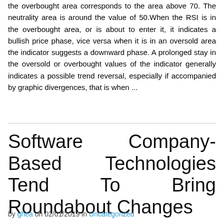the overbought area corresponds to the area above 70. The neutrality area is around the value of 50.When the RSI is in the overbought area, or is about to enter it, it indicates a bullish price phase, vice versa when it is in an oversold area the indicator suggests a downward phase. A prolonged stay in the oversold or overbought values of the indicator generally indicates a possible trend reversal, especially if accompanied by graphic divergences, that is when ...
Software Company-Based Technologies Tend To Bring Roundabout Changes
by ghea on 02/01/2019 in Uncategorized